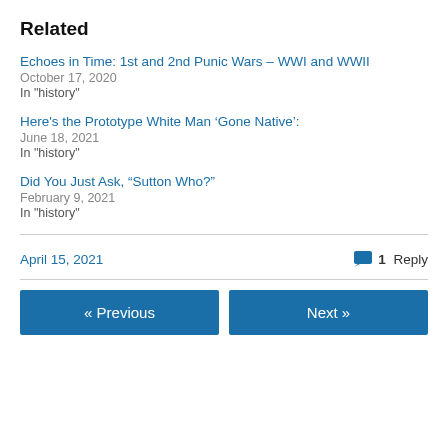Related
Echoes in Time: 1st and 2nd Punic Wars – WWI and WWII
October 17, 2020
In "history"
Here's the Prototype White Man ‘Gone Native’:
June 18, 2021
In "history"
Did You Just Ask, “Sutton Who?”
February 9, 2021
In "history"
April 15, 2021
1 Reply
« Previous
Next »